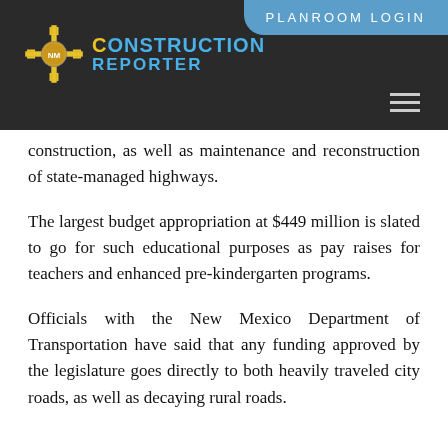[Figure (logo): Construction Reporter logo with New Mexico zia sun symbol and blue text reading CONSTRUCTION REPORTER on dark background, with PLANROOM LOGIN button top right and hamburger menu icon]
construction, as well as maintenance and reconstruction of state-managed highways.
The largest budget appropriation at $449 million is slated to go for such educational purposes as pay raises for teachers and enhanced pre-kindergarten programs.
Officials with the New Mexico Department of Transportation have said that any funding approved by the legislature goes directly to both heavily traveled city roads, as well as decaying rural roads.